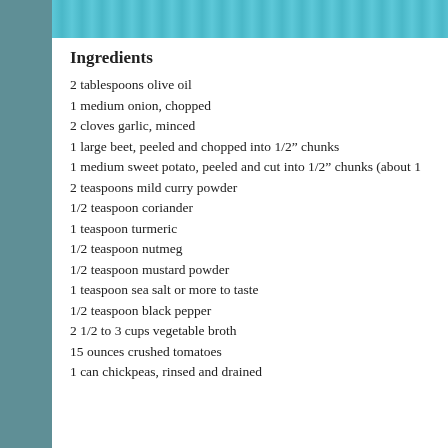[Figure (photo): Top portion of a food photo with teal/turquoise background]
Ingredients
2 tablespoons olive oil
1 medium onion, chopped
2 cloves garlic, minced
1 large beet, peeled and chopped into 1/2” chunks
1 medium sweet potato, peeled and cut into 1/2” chunks (about 1
2 teaspoons mild curry powder
1/2 teaspoon coriander
1 teaspoon turmeric
1/2 teaspoon nutmeg
1/2 teaspoon mustard powder
1 teaspoon sea salt or more to taste
1/2 teaspoon black pepper
2 1/2 to 3 cups vegetable broth
15 ounces crushed tomatoes
1 can chickpeas, rinsed and drained